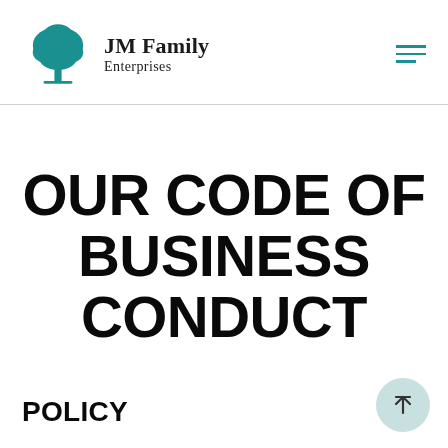JM Family Enterprises
OUR CODE OF BUSINESS CONDUCT
POLICY